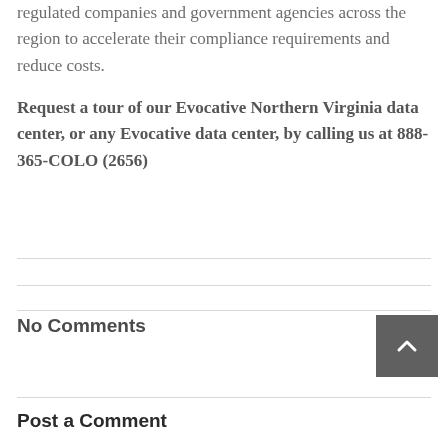regulated companies and government agencies across the region to accelerate their compliance requirements and reduce costs.
Request a tour of our Evocative Northern Virginia data center, or any Evocative data center, by calling us at 888-365-COLO (2656)
No Comments
Post a Comment